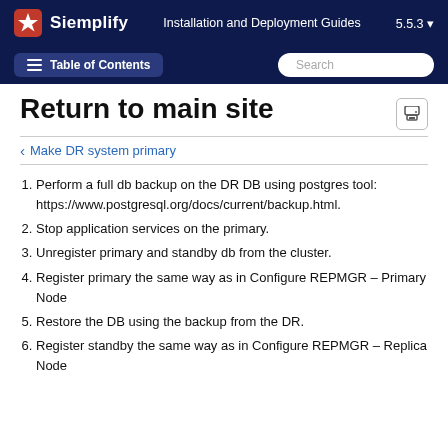Siemplify   Installation and Deployment Guides   5.5.3
Table of Contents   Search
Return to main site
Make DR system primary
Perform a full db backup on the DR DB using postgres tool: https://www.postgresql.org/docs/current/backup.html.
Stop application services on the primary.
Unregister primary and standby db from the cluster.
Register primary the same way as in Configure REPMGR – Primary Node
Restore the DB using the backup from the DR.
Register standby the same way as in Configure REPMGR – Replica Node